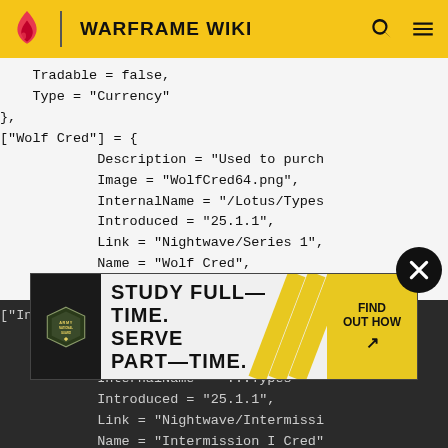WARFRAME WIKI
Tradable = false,
    Type = "Currency"
},
["Wolf Cred"] = {
        Description = "Used to purch
        Image = "WolfCred64.png",
        InternalName = "/Lotus/Types
        Introduced = "25.1.1",
        Link = "Nightwave/Series 1",
        Name = "Wolf Cred",
        Tradable = false,
        Type = "Currency"
},
["Intermission I Cred"] = {
        Description = "...purch
        ...
        Introduced = "25.1.1",
        Link = "Nightwave/Intermissi
        Name = "Intermission I Cred"
        Tradable = false,
[Figure (other): Army National Guard advertisement: STUDY FULL-TIME. SERVE PART-TIME. FIND OUT HOW]